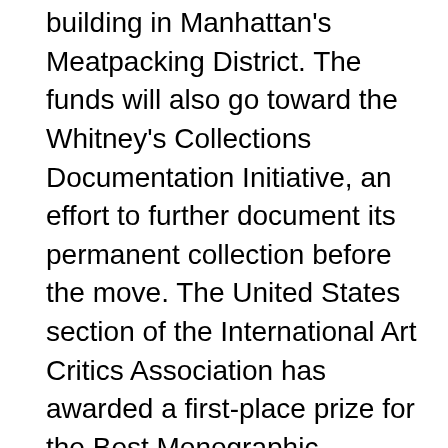building in Manhattan's Meatpacking District. The funds will also go toward the Whitney's Collections Documentation Initiative, an effort to further document its permanent collection before the move. The United States section of the International Art Critics Association has awarded a first-place prize for the Best Monographic Museum Show in New York to the Whitney for Paul Thek: Diver (2010–11), and second-place prize for Glenn Ligon: AMERICA (2011). Last, the Whitney has won a silver 2012 MUSE award in the category of Education and Outreach for its interactive website, For Kids, and a bronze 2012 MUSE award for Video, Film, and Computer Animation for the Vlog Project, comprising short videos that feature deaf museum educators discussing contemporary art in American Sign Language.